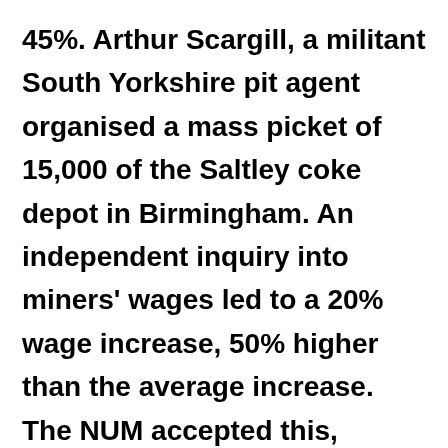45%. Arthur Scargill, a militant South Yorkshire pit agent organised a mass picket of 15,000 of the Saltley coke depot in Birmingham. An independent inquiry into miners' wages led to a 20% wage increase, 50% higher than the average increase. The NUM accepted this, winning the most clear-cut defeat of any government by any British trade union ever. Heath was forced into a U-turn on